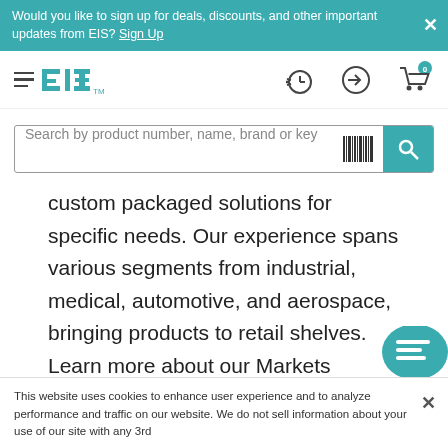Would you like to sign up for deals, discounts, and other important updates from EIS? Sign Up
[Figure (logo): EIS logo with hamburger menu icon]
[Figure (screenshot): Search bar with placeholder text: Search by product number, name, brand or key, barcode icon, and teal search button]
custom packaged solutions for specific needs. Our experience spans various segments from industrial, medical, automotive, and aerospace, bringing products to retail shelves. Learn more about our Markets Served.
This website uses cookies to enhance user experience and to analyze performance and traffic on our website. We do not sell information about your use of our site with any 3rd